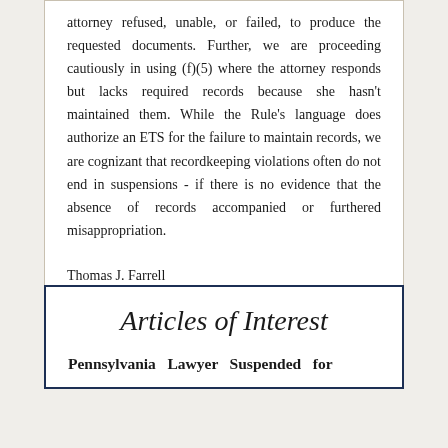attorney refused, unable, or failed, to produce the requested documents. Further, we are proceeding cautiously in using (f)(5) where the attorney responds but lacks required records because she hasn't maintained them. While the Rule's language does authorize an ETS for the failure to maintain records, we are cognizant that recordkeeping violations often do not end in suspensions - if there is no evidence that the absence of records accompanied or furthered misappropriation.
Thomas J. Farrell
Chief Disciplinary Counsel
Articles of Interest
Pennsylvania Lawyer Suspended for